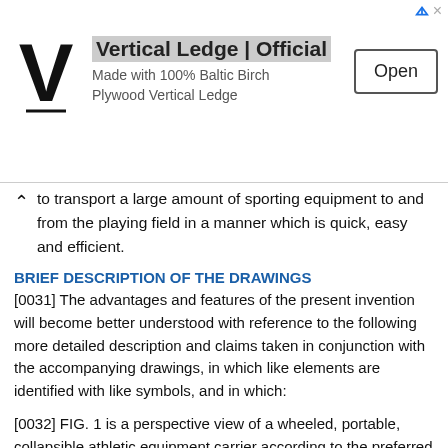[Figure (other): Advertisement banner for Vertical Ledge showing a V logo, title 'Vertical Ledge | Official', subtitle 'Made with 100% Baltic Birch Plywood Vertical Ledge', and an Open button]
to transport a large amount of sporting equipment to and from the playing field in a manner which is quick, easy and efficient.
BRIEF DESCRIPTION OF THE DRAWINGS
[0031] The advantages and features of the present invention will become better understood with reference to the following more detailed description and claims taken in conjunction with the accompanying drawings, in which like elements are identified with like symbols, and in which:
[0032] FIG. 1 is a perspective view of a wheeled, portable, collapsible athletic equipment carrier according to the preferred embodiment of the present invention;
[0033] FIG. 2 is a perspective view of the wheeled, portable, collapsible athletic equipment carrier shown with the athletic bag removed according to the preferred embodiment of the present invention;
[0034] FIG. 3 is a front side elevational view of the athletic bag shown with flaps in an open position;
[0035] FIG. 4 is a rear side exploded view of the athletic bag according to